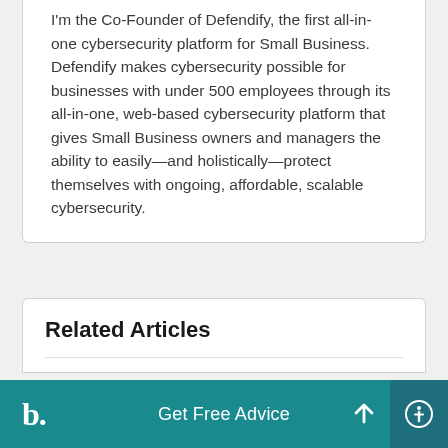I'm the Co-Founder of Defendify, the first all-in-one cybersecurity platform for Small Business. Defendify makes cybersecurity possible for businesses with under 500 employees through its all-in-one, web-based cybersecurity platform that gives Small Business owners and managers the ability to easily—and holistically—protect themselves with ongoing, affordable, scalable cybersecurity.
Related Articles
[Figure (other): Teal bottom bar with 'b.' logo on left, 'Get Free Advice' text center, scroll-up arrow button and accessibility icon button on right]